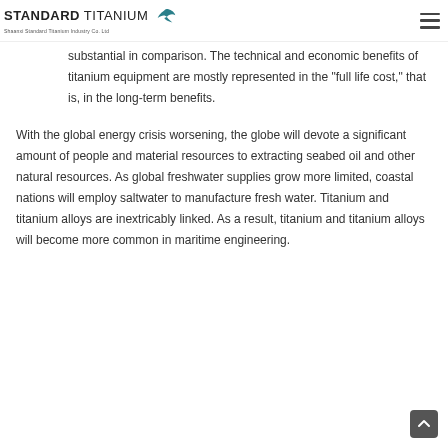STANDARD TITANIUM | Shaanxi Standard Titanium Industry Co. Ltd
substantial in comparison. The technical and economic benefits of titanium equipment are mostly represented in the “full life cost,” that is, in the long-term benefits.
With the global energy crisis worsening, the globe will devote a significant amount of people and material resources to extracting seabed oil and other natural resources. As global freshwater supplies grow more limited, coastal nations will employ saltwater to manufacture fresh water. Titanium and titanium alloys are inextricably linked. As a result, titanium and titanium alloys will become more common in maritime engineering.